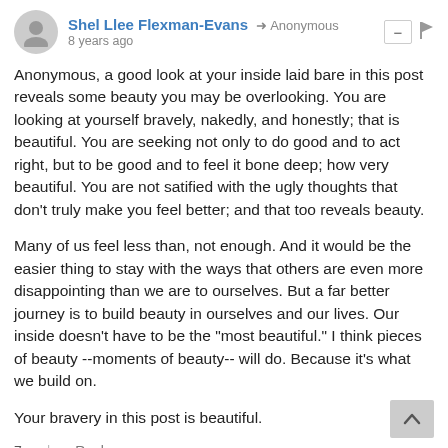Shel Llee Flexman-Evans → Anonymous  8 years ago
Anonymous, a good look at your inside laid bare in this post reveals some beauty you may be overlooking. You are looking at yourself bravely, nakedly, and honestly; that is beautiful. You are seeking not only to do good and to act right, but to be good and to feel it bone deep; how very beautiful. You are not satified with the ugly thoughts that don't truly make you feel better; and that too reveals beauty.
Many of us feel less than, not enough. And it would be the easier thing to stay with the ways that others are even more disappointing than we are to ourselves. But a far better journey is to build beauty in ourselves and our lives. Our inside doesn't have to be the "most beautiful." I think pieces of beauty --moments of beauty-- will do. Because it's what we build on.
Your bravery in this post is beautiful.
7 ↑ | ↓  Reply